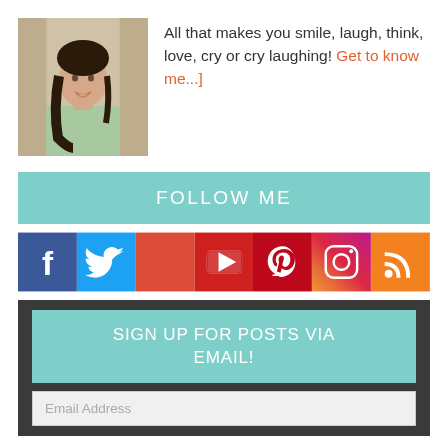[Figure (photo): Profile photo of a woman with dark hair wearing a light green top, smiling, in front of curtains]
All that makes you smile, laugh, think, love, cry or cry laughing! Get to know me...]
FOLLOW ME
[Figure (infographic): Row of social media icons: Facebook (blue), Twitter (blue), Google+ (red/orange), YouTube (red), Pinterest (red), Instagram (purple/pink), RSS (orange)]
SIGN UP FOR POSTS VIA EMAIL!
Email Address